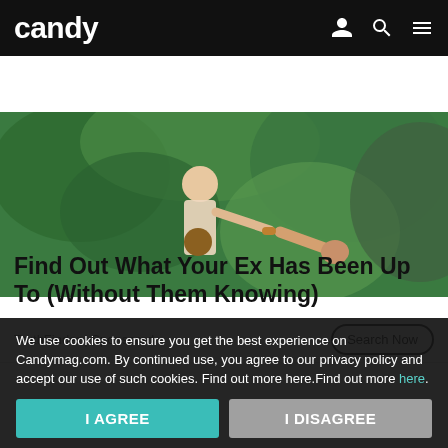candy
[Figure (photo): Aerial/overhead photo of a couple holding hands outdoors with green foliage background]
Find Out What Your Ex Has Been Up To (Without Them Knowing)
TruthFinder | Sponsored
Search Now
[Figure (photo): Photo of audio speakers/equipment on what appears to be a gray surface]
Read on App
We use cookies to ensure you get the best experience on Candymag.com. By continued use, you agree to our privacy policy and accept our use of such cookies. Find out more here.Find out more here.
I AGREE
I DISAGREE